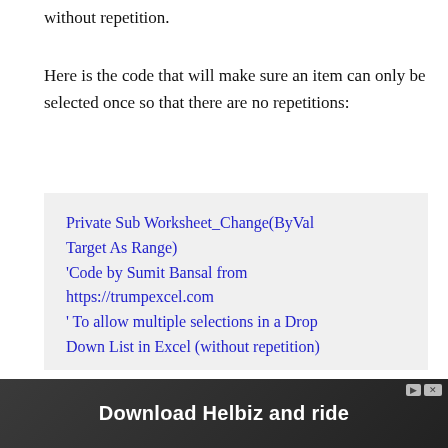without repetition.
Here is the code that will make sure an item can only be selected once so that there are no repetitions:
Private Sub Worksheet_Change(ByVal Target As Range)
'Code by Sumit Bansal from https://trumpexcel.com
' To allow multiple selections in a Drop Down List in Excel (without repetition)
[Figure (other): Advertisement banner: Download Helbiz and ride]